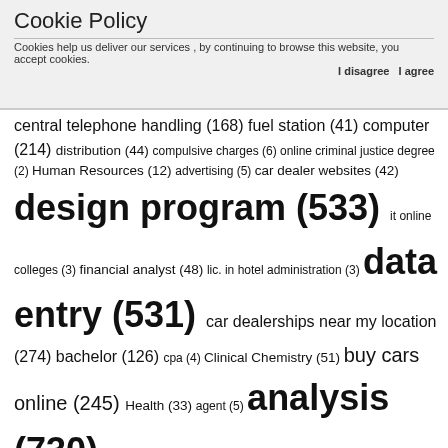Cookie Policy
Cookies help us deliver our services , by continuing to browse this website, you accept cookies.
I disagree  I agree
central telephone handling (168) fuel station (41) computer (214) distribution (44) compulsive charges (6) online criminal justice degree (2) Human Resources (12) advertising (5) car dealer websites (42) design program (533) it online colleges (3) financial analyst (48) lic. in hotel administration (3) data entry (531) car dealerships near my location (274) bachelor (126) cpa (4) Clinical Chemistry (51) buy cars online (245) Health (33) agent (5) analysis (730) excel (14) doctor (6) Construction (98) executive (8) costs (358) assistant (82) chemical engineering (85) creativity (74) internship (3) delivery courier (264) electricity (23) Call centers (272) Civil Engineering (320) corporate budget (615) chemistry (4) encased in human resources (203) domestic employee (53) agents (21) cheap car in (1494) industrial Security (12) personal development (7) auto